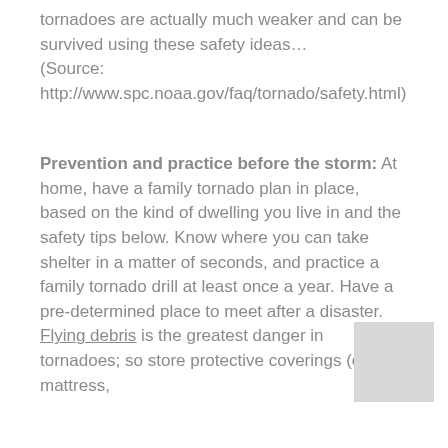tornadoes are actually much weaker and can be survived using these safety ideas… (Source: http://www.spc.noaa.gov/faq/tornado/safety.html)
Prevention and practice before the storm: At home, have a family tornado plan in place, based on the kind of dwelling you live in and the safety tips below. Know where you can take shelter in a matter of seconds, and practice a family tornado drill at least once a year. Have a pre-determined place to meet after a disaster. Flying debris is the greatest danger in tornadoes; so store protective coverings (e.g., mattress,